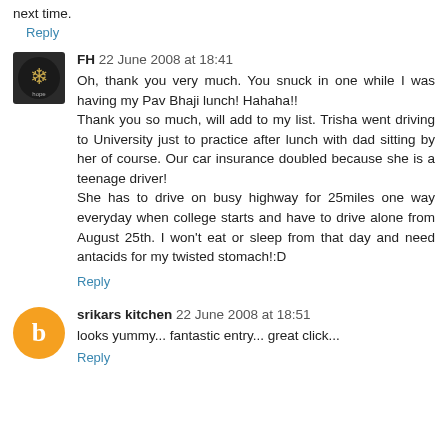next time.
Reply
FH 22 June 2008 at 18:41
Oh, thank you very much. You snuck in one while I was having my Pav Bhaji lunch! Hahaha!!
Thank you so much, will add to my list. Trisha went driving to University just to practice after lunch with dad sitting by her of course. Our car insurance doubled because she is a teenage driver!
She has to drive on busy highway for 25miles one way everyday when college starts and have to drive alone from August 25th. I won't eat or sleep from that day and need antacids for my twisted stomach!:D
Reply
srikars kitchen 22 June 2008 at 18:51
looks yummy... fantastic entry... great click...
Reply